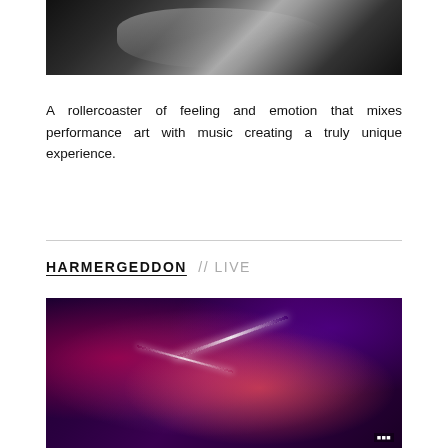[Figure (photo): Dark, high-contrast black and white photo of a performer with reflective glossy material, cropped at top of page]
A rollercoaster of feeling and emotion that mixes performance art with music creating a truly unique experience.
HARMERGEDDON // LIVE
[Figure (photo): Live performance photo with vibrant purple and red stage lighting, performer with glowing red lights and bright white light streaks, dark atmospheric background]